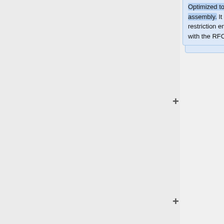Optimized to allow for in-frame protein assembly. It used BamHI and BglII restriction enzymes. It is incompatible with the RFC[10] standard.
*Silver RFC[23]: Based on the RFC[10] standard, but has a shorter, 6 bp scar that allows for in-frame protein assembly. However, the scar includes an Arg codon, which will